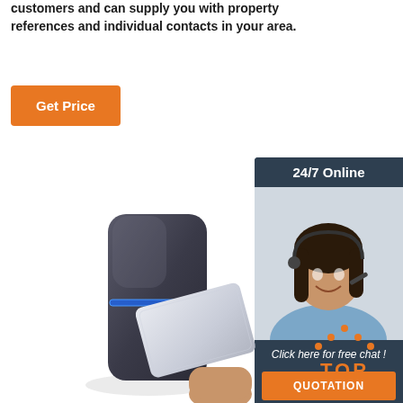customers and can supply you with property references and individual contacts in your area.
[Figure (illustration): Orange 'Get Price' button]
[Figure (illustration): 24/7 Online customer service chat widget with photo of smiling woman with headset, 'Click here for free chat!' text, and orange QUOTATION button]
[Figure (photo): RFID card reader device with a card being presented to it]
[Figure (logo): Orange TOP logo with dots above forming triangle shape]